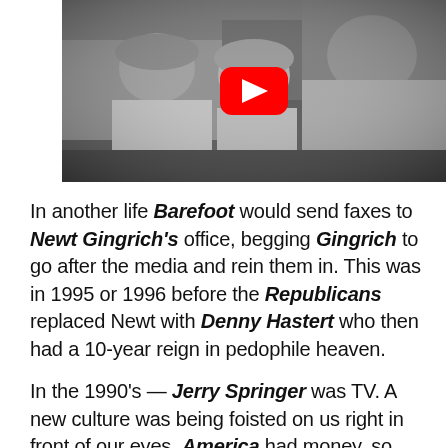[Figure (screenshot): Black and white YouTube video thumbnail showing three people in a car, with YouTube play button overlay.]
In another life Barefoot would send faxes to Newt Gingrich's office, begging Gingrich to go after the media and rein them in. This was in 1995 or 1996 before the Republicans replaced Newt with Denny Hastert who then had a 10-year reign in pedophile heaven.
In the 1990's — Jerry Springer was TV. A new culture was being foisted on us right in front of our eyes. America had money, so over